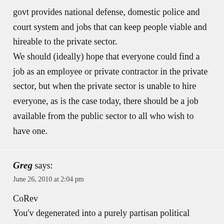govt provides national defense, domestic police and court system and jobs that can keep people viable and hireable to the private sector.

We should (ideally) hope that everyone could find a job as an employee or private contractor in the private sector, but when the private sector is unable to hire everyone, as is the case today, there should be a job available from the public sector to all who wish to have one.
Greg says:
June 26, 2010 at 2:04 pm

CoRev

You'v degenerated into a purely partisan political